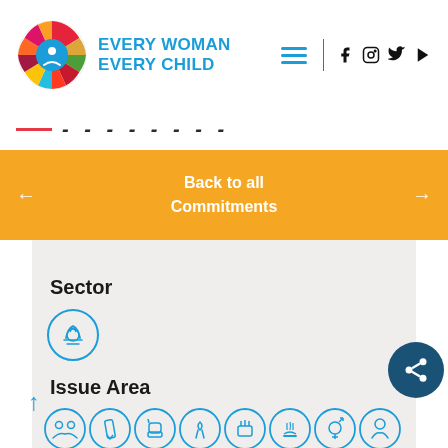[Figure (logo): Every Woman Every Child logo with SDG colorful wheel and blue text]
Back to all Commitments
Sector
[Figure (illustration): Blue circle icon with handshake/thumbs up symbol representing a sector category]
Issue Area
[Figure (illustration): Row of blue circle icons representing various issue area categories: people/community, pencil/education, fist/empowerment, ribbon/health, hand/protection, food/nutrition, gender, and another category]